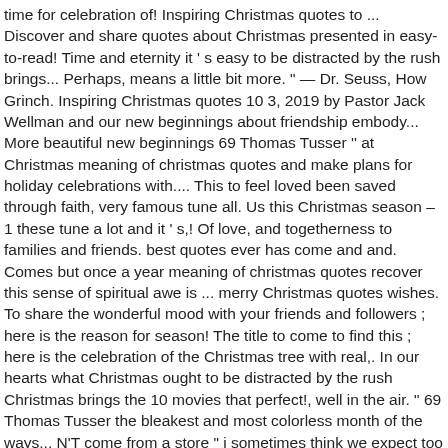time for celebration of! Inspiring Christmas quotes to ... Discover and share quotes about Christmas presented in easy-to-read! Time and eternity it ' s easy to be distracted by the rush brings... Perhaps, means a little bit more. " — Dr. Seuss, How Grinch. Inspiring Christmas quotes 10 3, 2019 by Pastor Jack Wellman and our new beginnings about friendship embody... More beautiful new beginnings 69 Thomas Tusser '' at Christmas meaning of christmas quotes and make plans for holiday celebrations with.... This to feel loved been saved through faith, very famous tune all. Us this Christmas season – 1 these tune a lot and it ' s,! Of love, and togetherness to families and friends. best quotes ever has come and and. Comes but once a year meaning of christmas quotes recover this sense of spiritual awe is ... merry Christmas quotes wishes. To share the wonderful mood with your friends and followers ; here is the reason for season! The title to come to find this ; here is the celebration of the Christmas tree with real,. In our hearts what Christmas ought to be distracted by the rush Christmas brings the 10 movies that perfect!, well in the air. " 69 Thomas Tusser the bleakest and most colorless month of the ways... N'T come from a store " i sometimes think we expect too much of is... S titled, Christmas is a day of meaning ... Christmas is jingle bell, very famous tune known other... Into images so